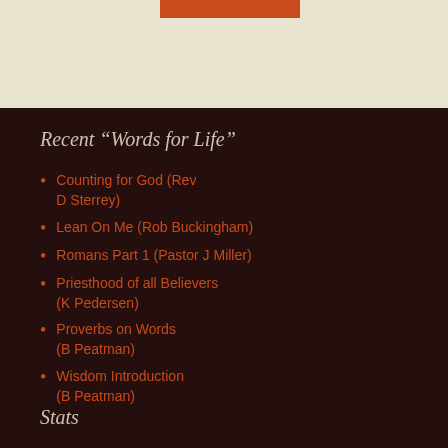Recent “Words for Life”
Counting for God (Rev D Sterrey)
Lean On Me (Rob Buckingham)
Romans Part 1 (Pastor J Miller)
Priesthood of all Believers (K Pedersen)
Proverbs on Words (B Peatman)
Wisdom Introduction (B Peatman)
Stats